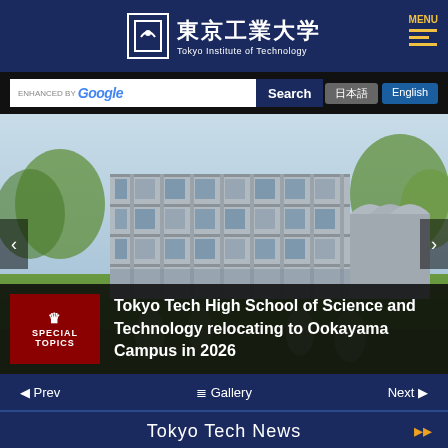東京工業大学 Tokyo Institute of Technology | MENU
ENHANCED BY Google | Search | 日本語 | English
[Figure (photo): Architectural rendering of Tokyo Tech High School of Science and Technology building, a modern multi-story structure with greenery and trees surrounding it on a sunny day.]
SPECIAL TOPICS
Tokyo Tech High School of Science and Technology relocating to Ookayama Campus in 2026
◄ Prev   ☰ Gallery   Next ►
Tokyo Tech News